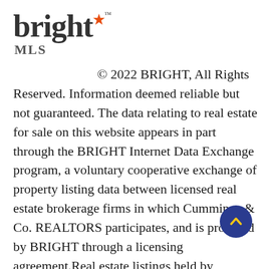[Figure (logo): Bright MLS logo: large bold lowercase 'bright' text with an orange star/compass symbol above the 'i', a small TM superscript, and 'MLS' in smaller bold text below]
© 2022 BRIGHT, All Rights Reserved. Information deemed reliable but not guaranteed. The data relating to real estate for sale on this website appears in part through the BRIGHT Internet Data Exchange program, a voluntary cooperative exchange of property listing data between licensed real estate brokerage firms in which Cummings & Co. REALTORS participates, and is provided by BRIGHT through a licensing agreement.Real estate listings held by brokerage firms other than Cummings & Co. REALTORS are marked with the IDX logo and detailed information about each listing includes the name of the listing broker.The information provided by this website is for the personal, non-commercial use of